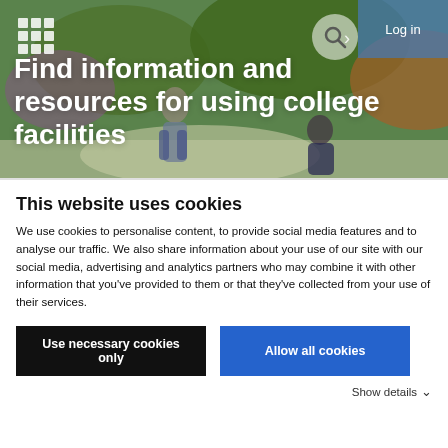[Figure (photo): Hero banner image showing two people in a garden/park setting with flowering trees and greenery, with navigation overlay including grid icon, search icon, arrow, and Log in button. Title text overlay reads 'Find information and resources for using college facilities']
Find information and resources for using college facilities
This website uses cookies
We use cookies to personalise content, to provide social media features and to analyse our traffic. We also share information about your use of our site with our social media, advertising and analytics partners who may combine it with other information that you've provided to them or that they've collected from your use of their services.
Use necessary cookies only
Allow all cookies
Show details